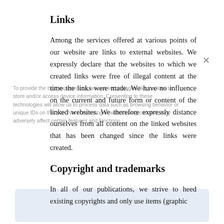Links
Among the services offered at various points of our website are links to external websites. We expressly declare that the websites to which we created links were free of illegal content at the time the links were made. We have no influence on the current and future form or content of the linked websites. We therefore expressly distance ourselves from all content on the linked websites that has been changed since the links were created.
Copyright and trademarks
In all of our publications, we strive to heed existing copyrights and only use items (graphic